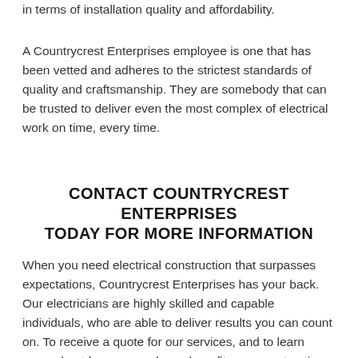in terms of installation quality and affordability.
A Countrycrest Enterprises employee is one that has been vetted and adheres to the strictest standards of quality and craftsmanship. They are somebody that can be trusted to deliver even the most complex of electrical work on time, every time.
CONTACT COUNTRYCREST ENTERPRISES TODAY FOR MORE INFORMATION
When you need electrical construction that surpasses expectations, Countrycrest Enterprises has your back. Our electricians are highly skilled and capable individuals, who are able to deliver results you can count on. To receive a quote for our services, and to learn more about how our work can benefit your construction project, get in touch with us by phone or through our online contact form.